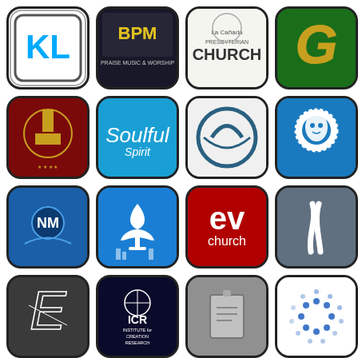[Figure (logo): Grid of 24 app/organization logos including KL, BPM, La Canada Presbyterian Church, G monogram, church/ministry logos, ev church, ICR Institute for Creation Research, Cross Roads Baptist Church, and others in a 4x6 grid layout]